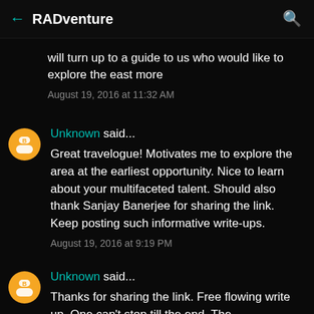← RADventure 🔍
will turn up to a guide to us who would like to explore the east more
August 19, 2016 at 11:32 AM
Unknown said...
Great travelogue! Motivates me to explore the area at the earliest opportunity. Nice to learn about your multifaceted talent. Should also thank Sanjay Banerjee for sharing the link. Keep posting such informative write-ups.
August 19, 2016 at 9:19 PM
Unknown said...
Thanks for sharing the link. Free flowing write up. One can't stop till the end. The